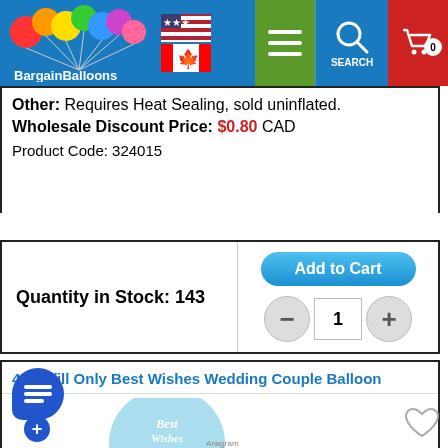BargainBalloons - header navigation
Other: Requires Heat Sealing, sold uninflated.
Wholesale Discount Price: $0.80 CAD
Product Code: 324015
Quantity in Stock: 143
Add to Cart
4" Airfill Only Best Wishes Wedding Couple Balloon
[Figure (photo): Round light blue balloon with 'Best Wishes' text and cartoon wedding couple (groom in black suit, bride in white dress) illustration]